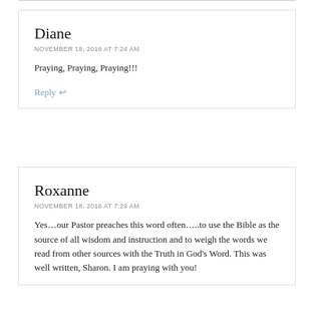Diane
NOVEMBER 18, 2016 AT 7:24 AM
Praying, Praying, Praying!!!
Reply ↩
Roxanne
NOVEMBER 18, 2016 AT 7:29 AM
Yes…our Pastor preaches this word often…..to use the Bible as the source of all wisdom and instruction and to weigh the words we read from other sources with the Truth in God's Word. This was well written, Sharon. I am praying with you!